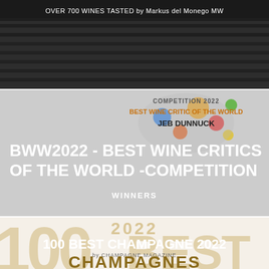[Figure (photo): Black and white image of vineyard rows with text overlay: OVER 700 WINES TASTED by Markus del Monego MW]
[Figure (infographic): BWW2022 - BEST WINE CRITICS OF THE WORLD - COMPETITION. Grey background with colourful circle decorations, text: COMPETITION 2022, BEST WINE CRITIC OF THE WORLD, JEB DUNNUCK, and large white overlay text: BWW2022 - BEST WINE CRITICS OF THE WORLD -COMPETITION, WINNERS]
[Figure (infographic): 100 BEST CHAMPAGNE 2022 by CHAMPAGNE MAGAZINE. Gold/champagne coloured large text: 2022, 100, BEST visible, with overlay text: 100 BEST CHAMPAGNE 2022, by CHAMPAGNE MAGAZINE, CHAMPAGNES]